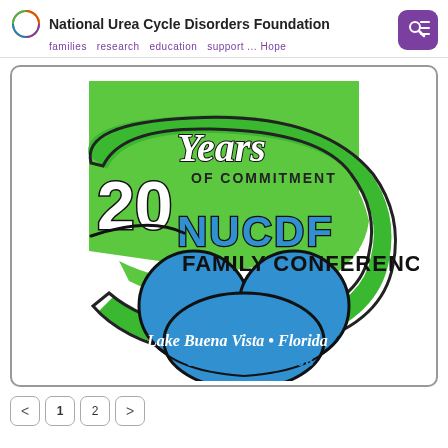National Urea Cycle Disorders Foundation — families research education support ... Hope
[Figure (logo): NUCDF Family Conference logo: '20 Years of Commitment NUCDF Family Conference, Lake Buena Vista, Florida, June 27-29, 2008' with green swoosh shape, blue Mickey Mouse ears silhouette, and stylized text]
Pagination: < 1 2 >